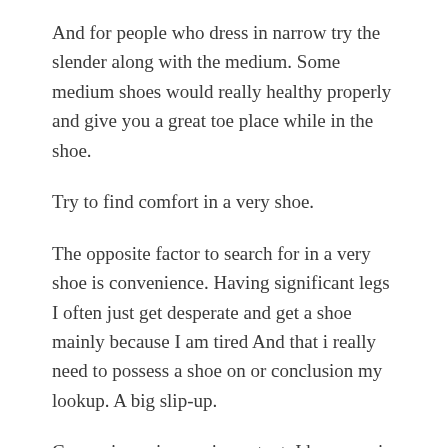And for people who dress in narrow try the slender along with the medium. Some medium shoes would really healthy properly and give you a great toe place while in the shoe.
Try to find comfort in a very shoe.
The opposite factor to search for in a very shoe is convenience. Having significant legs I often just get desperate and get a shoe mainly because I am tired And that i really need to possess a shoe on or conclusion my lookup. A big slip-up.
Convenience is very important. I have a pair of Clarks footwear that have stayed with me For some time. They ended up comfy ideal out of the box they usually are already comfy all as a result of.